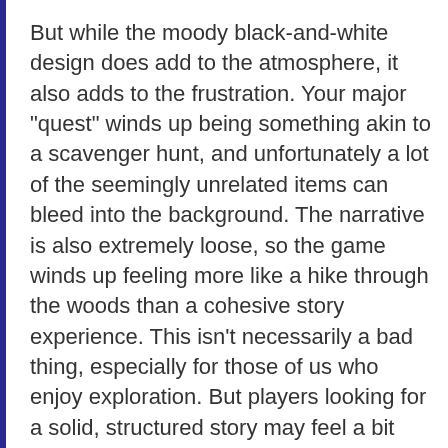But while the moody black-and-white design does add to the atmosphere, it also adds to the frustration. Your major "quest" winds up being something akin to a scavenger hunt, and unfortunately a lot of the seemingly unrelated items can bleed into the background. The narrative is also extremely loose, so the game winds up feeling more like a hike through the woods than a cohesive story experience. This isn't necessarily a bad thing, especially for those of us who enjoy exploration. But players looking for a solid, structured story may feel a bit frustrated.
Still, for a Halloween treat (or even just a quiet evening alone) The Cabin manages to provide a short but satisfying bit of spooky entertainment. Drawing on the sense of unease that comes from hearing similar old legends and bits of folklore, it's an excellent way to set the mood for an evening of frightening festivities. I...